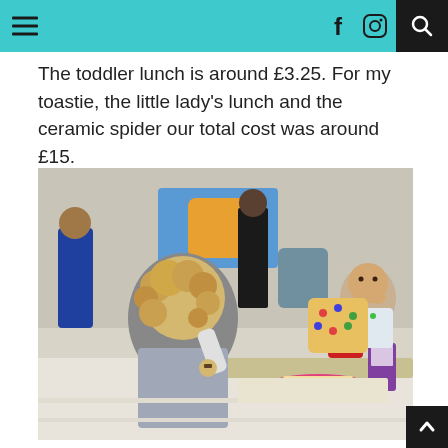Navigation header with hamburger menu, social icons (Facebook, Instagram), and search
The toddler lunch is around £3.25. For my toastie, the little lady's lunch and the ceramic spider our total cost was around £15.
[Figure (photo): Two young toddlers sitting at a table in a cafe/play centre, eating lunch. A girl with curly blonde hair faces away on the left; a boy in a patterned top sits facing the camera on the right with a pink plate of food and a juice carton on the table.]